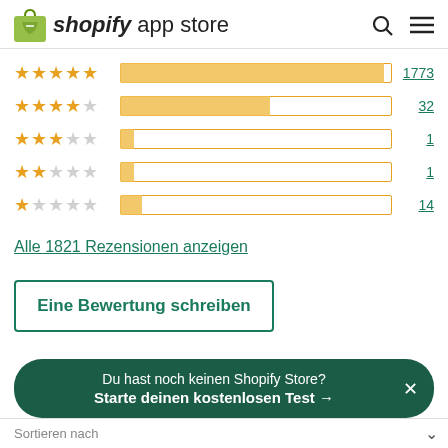shopify app store
[Figure (bar-chart): Rating distribution]
Alle 1821 Rezensionen anzeigen
Eine Bewertung schreiben
Du hast noch keinen Shopify Store? Starte deinen kostenlosen Test →
Sortieren nach